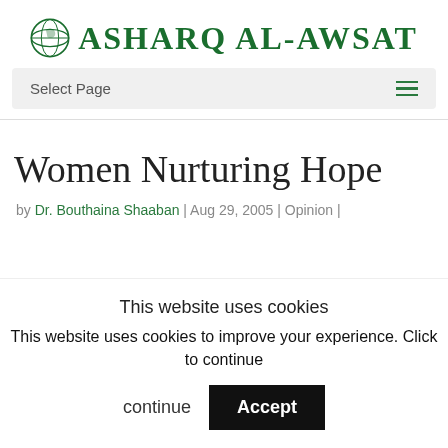[Figure (logo): Asharq Al-Awsat newspaper logo with green globe icon and green serif text]
Select Page
Women Nurturing Hope
by Dr. Bouthaina Shaaban | Aug 29, 2005 | Opinion |
This website uses cookies
This website uses cookies to improve your experience. Click to continue
Accept